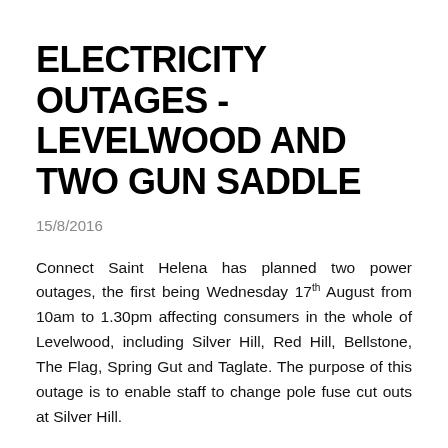ELECTRICITY OUTAGES - LEVELWOOD AND TWO GUN SADDLE
15/8/2016
Connect Saint Helena has planned two power outages, the first being Wednesday 17th August from 10am to 1.30pm affecting consumers in the whole of Levelwood, including Silver Hill, Red Hill, Bellstone, The Flag, Spring Gut and Taglate. The purpose of this outage is to enable staff to change pole fuse cut outs at Silver Hill.